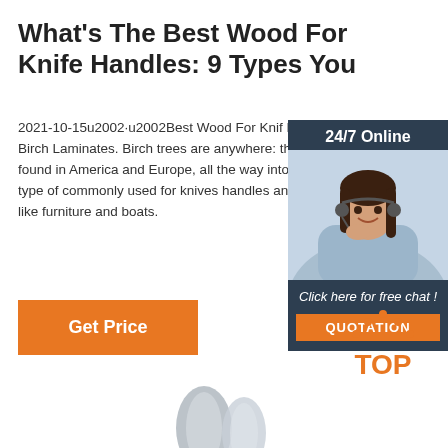What's The Best Wood For Knife Handles: 9 Types You
2021-10-15u2002·u2002Best Wood For Knife Handles. 1. Birch Laminates. Birch trees are anywhere: they can be found in America and Europe, all the way into Russia. This type of commonly used for knives handles and plent things, like furniture and boats.
[Figure (photo): Woman with headset, 24/7 Online customer support chat widget with orange QUOTATION button]
Get Price
[Figure (logo): TOP badge with orange dots above the text TOP in orange on white background]
[Figure (photo): Partial image of metallic knife handle at the bottom center of page]